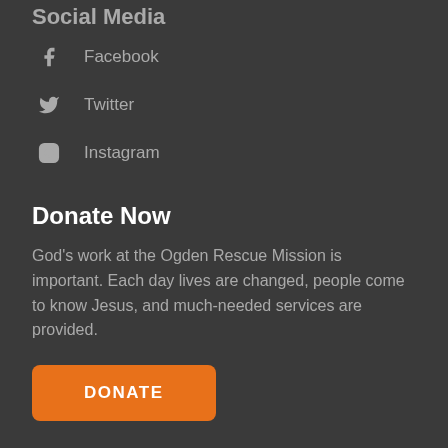Social Media
Facebook
Twitter
Instagram
Donate Now
God's work at the Ogden Rescue Mission is important. Each day lives are changed, people come to know Jesus, and much-needed services are provided.
DONATE